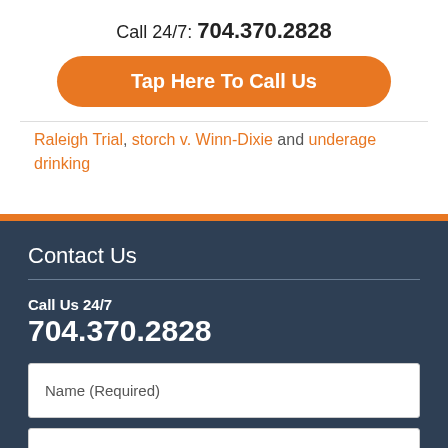Call 24/7: 704.370.2828
Tap Here To Call Us
Raleigh Trial, storch v. Winn-Dixie and underage drinking
Contact Us
Call Us 24/7
704.370.2828
Name (Required)
Email (Required)